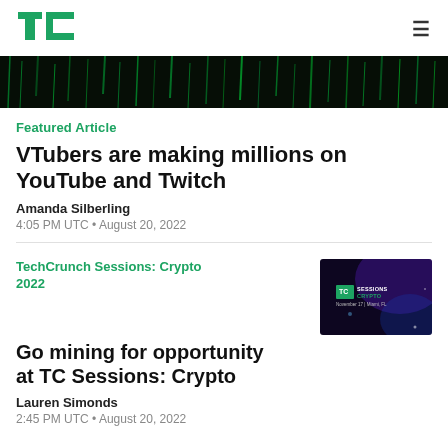TechCrunch (TC logo) | hamburger menu
[Figure (photo): Dark hero image strip with green matrix-like vertical streaks on black background]
Featured Article
VTubers are making millions on YouTube and Twitch
Amanda Silberling
4:05 PM UTC • August 20, 2022
TechCrunch Sessions: Crypto 2022
[Figure (screenshot): TechCrunch Sessions Crypto thumbnail showing TC Sessions Crypto logo, November 17, Miami FL on dark purple/blue background]
Go mining for opportunity at TC Sessions: Crypto
Lauren Simonds
2:45 PM UTC • August 20, 2022